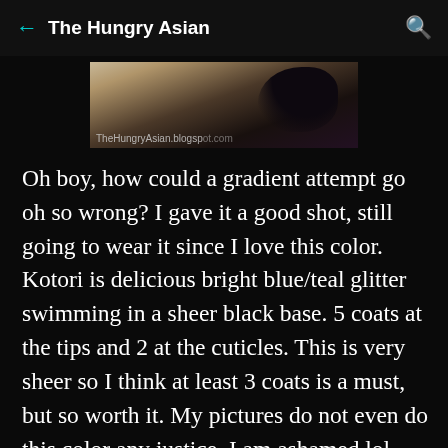The Hungry Asian
[Figure (photo): Close-up photo of nails with dark blue/teal gradient polish with watermark text 'TheHungryAsian.blogspot.com']
Oh boy, how could a gradient attempt go oh so wrong? I gave it a good shot, still going to wear it since I love this color. Kotori is delicious bright blue/teal glitter swimming in a sheer black base. 5 coats at the tips and 2 at the cuticles. This is very sheer so I think at least 3 coats is a must, but so worth it. My pictures do not even do this color any justice, I am ashamed lol.